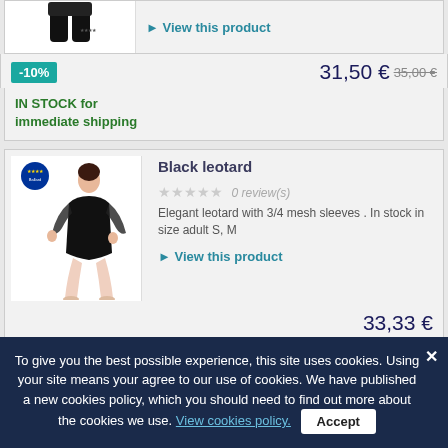[Figure (photo): Partial view of a black leotard/pants product image at top of page]
▶ View this product
-10%
31,50 € 35,00 €
IN STOCK for immediate shipping
Black leotard
0 review(s)
Elegant leotard with 3/4 mesh sleeves . In stock in size adult S, M
▶ View this product
33,33 €
To give you the best possible experience, this site uses cookies. Using your site means your agree to our use of cookies. We have published a new cookies policy, which you should need to find out more about the cookies we use. View cookies policy.